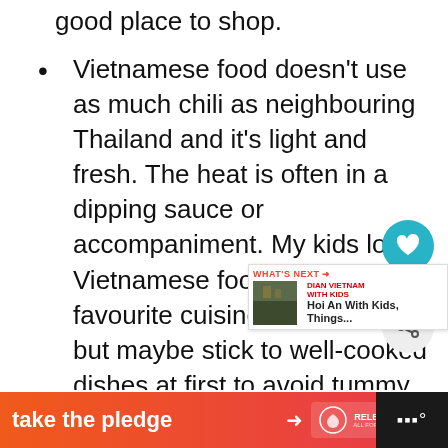good place to shop.
Vietnamese food doesn't use as much chili as neighbouring Thailand and it's light and fresh. The heat is often in a dipping sauce or accompaniment. My kids love Vietnamese food, it's their favourite cuisine in the world, but maybe stick to well-cooked dishes at first to avoid tummy trouble. Food is very cheap if you eat in the right places, possibly the cheapest in Southeast Asia, that's good news for parents of hungry kids.
[Figure (infographic): Take the pledge banner advertisement with orange-pink gradient, arrow, RELEASE logo, and black bar with sound wave icon on right]
[Figure (infographic): Heart button with count 168, share button overlay UI on right side]
[Figure (infographic): What's Next widget showing Hoi An With Kids, Things... article preview]